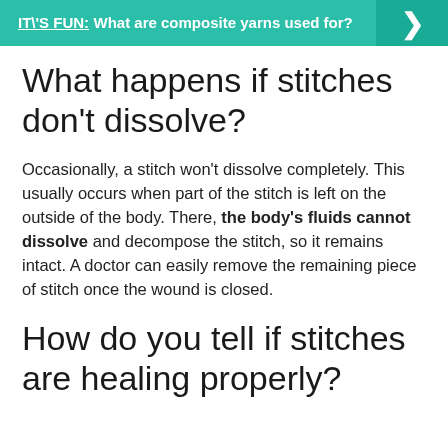[Figure (infographic): Teal banner with 'IT\'S FUN:' label and text 'What are composite yarns used for?' with a right-arrow button on the right side]
What happens if stitches don't dissolve?
Occasionally, a stitch won't dissolve completely. This usually occurs when part of the stitch is left on the outside of the body. There, the body's fluids cannot dissolve and decompose the stitch, so it remains intact. A doctor can easily remove the remaining piece of stitch once the wound is closed.
How do you tell if stitches are healing properly?